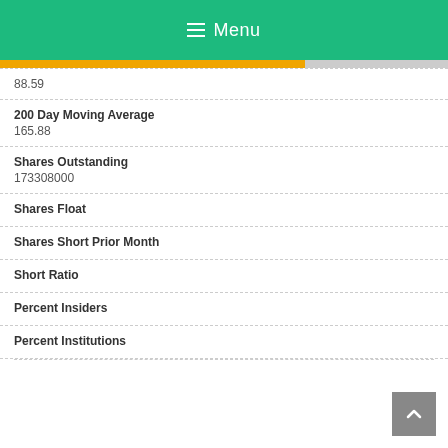≡ Menu
88.59
200 Day Moving Average
165.88
Shares Outstanding
173308000
Shares Float
Shares Short Prior Month
Short Ratio
Percent Insiders
Percent Institutions